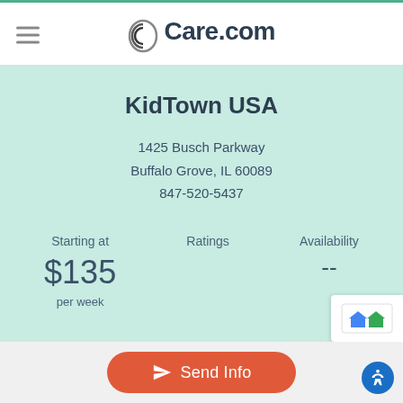Care.com
KidTown USA
1425 Busch Parkway
Buffalo Grove, IL 60089
847-520-5437
Starting at $135 per week
Ratings
Availability --
Details and information displayed here were provided by this business and may not reflect its current status. We strongly encourage you to perform your ow…
Send Info